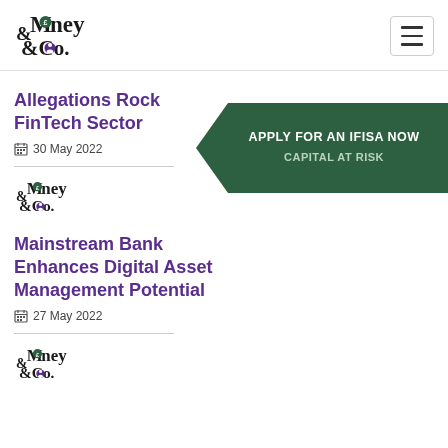Money & Co. logo and navigation
Allegations Rock FinTech Sector
30 May 2022
[Figure (logo): Money & Co. small logo thumbnail]
[Figure (infographic): Green chevron banner: APPLY FOR AN IFISA NOW / CAPITAL AT RISK]
Mainstream Bank Enhances Digital Asset Management Potential
27 May 2022
[Figure (logo): Money & Co. small logo thumbnail]